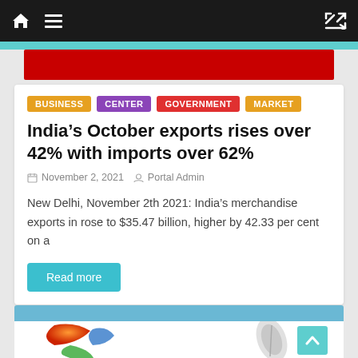Navigation bar with home icon, hamburger menu, and shuffle icon
[Figure (screenshot): Red banner/header image partially visible below teal strip]
BUSINESS
CENTER
GOVERNMENT
MARKET
India’s October exports rises over 42% with imports over 62%
November 2, 2021   Portal Admin
New Delhi, November 2th 2021: India’s merchandise exports in rose to $35.47 billion, higher by 42.33 per cent on a
Read more
[Figure (illustration): Partial view of Windows XP-style logo and a leaf/feather icon at the bottom of the page]